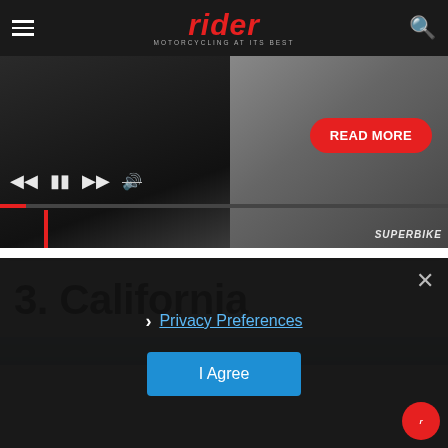rider — MOTORCYCLING AT ITS BEST
[Figure (screenshot): Video player strip showing motorcycle riding footage with media playback controls (skip back, pause, skip forward, mute) and a red READ MORE button. Red progress bar at bottom. Superbike watermark bottom right.]
3. California
[Figure (photo): Partial image of California scenery, mostly sky/water tones, cropped at bottom of visible area.]
Privacy Preferences
I Agree